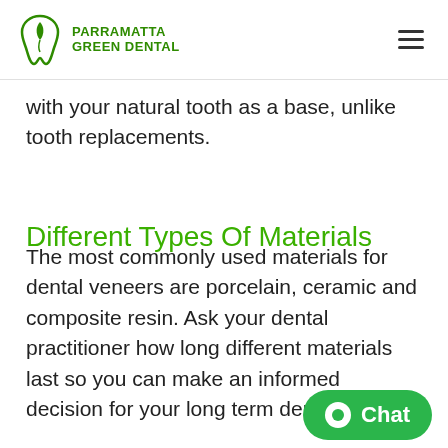Parramatta Green Dental
with your natural tooth as a base, unlike tooth replacements.
Different Types Of Materials
The most commonly used materials for dental veneers are porcelain, ceramic and composite resin. Ask your dental practitioner how long different materials last so you can make an informed decision for your long term dental health.